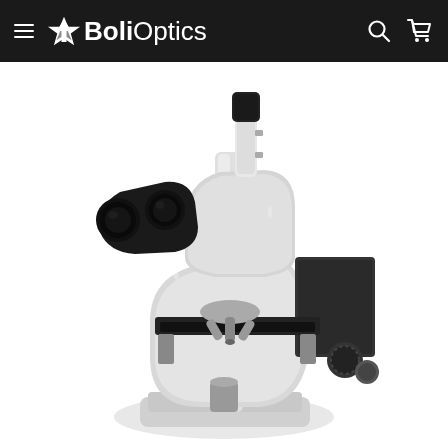BoliOptics
[Figure (photo): A trinocular laboratory compound microscope with black and white body, featuring two eyepieces and a camera port on top, mechanical stage, and objective lenses, photographed on a white background. Brand: BoliOptics.]